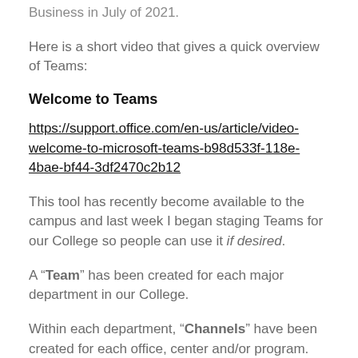Business in July of 2021.
Here is a short video that gives a quick overview of Teams:
Welcome to Teams
https://support.office.com/en-us/article/video-welcome-to-microsoft-teams-b98d533f-118e-4bae-bf44-3df2470c2b12
This tool has recently become available to the campus and last week I began staging Teams for our College so people can use it if desired.
A “Team” has been created for each major department in our College.
Within each department, “Channels” have been created for each office, center and/or program. Channels are where the work and collaboration